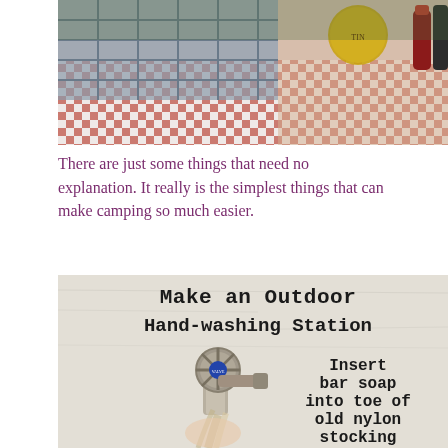[Figure (photo): Outdoor camping table with red and white checkered tablecloth, a grey plastic crate, various cooking supplies including cans and bottles.]
There are just some things that need no explanation. It really is the simplest things that can make camping so much easier.
[Figure (photo): Photo of an outdoor faucet/spigot with a nylon stocking tied to it holding bar soap, against a white textured wall. Text overlay reads: 'Make an Outdoor Hand-washing Station' and 'Insert bar soap into toe of old nylon stocking']